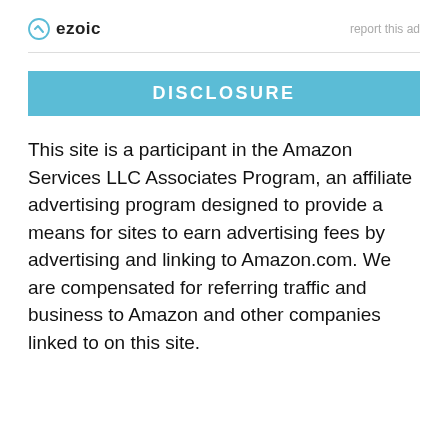ezoic   report this ad
DISCLOSURE
This site is a participant in the Amazon Services LLC Associates Program, an affiliate advertising program designed to provide a means for sites to earn advertising fees by advertising and linking to Amazon.com. We are compensated for referring traffic and business to Amazon and other companies linked to on this site.